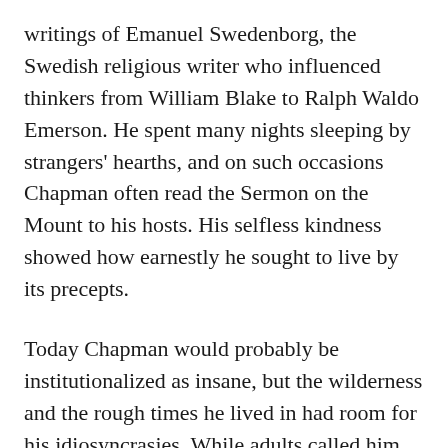writings of Emanuel Swedenborg, the Swedish religious writer who influenced thinkers from William Blake to Ralph Waldo Emerson. He spent many nights sleeping by strangers' hearths, and on such occasions Chapman often read the Sermon on the Mount to his hosts. His selfless kindness showed how earnestly he sought to live by its precepts.
Today Chapman would probably be institutionalized as insane, but the wilderness and the rough times he lived in had room for his idiosyncrasies. While adults called him crazy, citing a story that he had been kicked in the head by a horse as a young man, children looked forward to his visits. Chapman enjoyed their company, bringing ribbons for the girls and reportedly entertaining the boys by walking